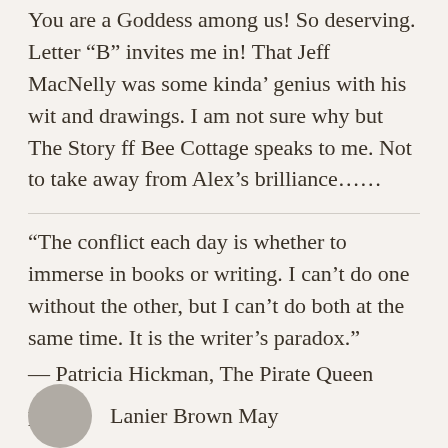You are a Goddess among us! So deserving. Letter “B” invites me in! That Jeff MacNelly was some kinda’ genius with his wit and drawings. I am not sure why but The Story ff Bee Cottage speaks to me. Not to take away from Alex’s brilliance……
“The conflict each day is whether to immerse in books or writing. I can’t do one without the other, but I can’t do both at the same time. It is the writer’s paradox.”
— Patricia Hickman, The Pirate Queen
Reply
Lanier Brown May